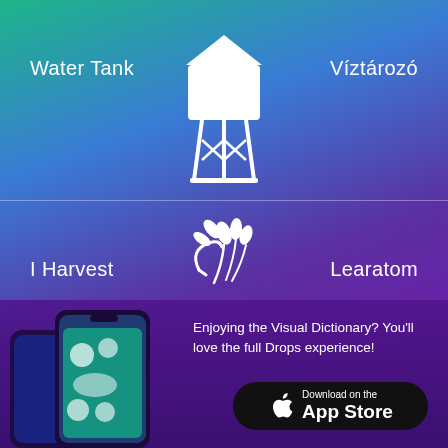Water Tank
[Figure (illustration): White icon of a water tower on gradient background]
Víztározó
I Harvest
[Figure (illustration): White icon of wheat/harvest on gradient background]
Learatom
[Figure (screenshot): Drops language learning app screenshot showing phone with visual dictionary]
Enjoying the Visual Dictionary? You'll love the full Drops experience!
Download on the App Store